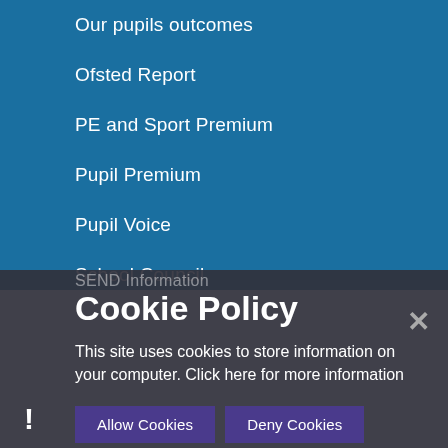Our pupils outcomes
Ofsted Report
PE and Sport Premium
Pupil Premium
Pupil Voice
School Council
SEND Information
Cookie Policy
This site uses cookies to store information on your computer. Click here for more information
Allow Cookies
Deny Cookies